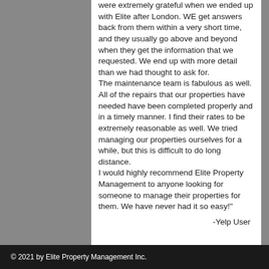were extremely grateful when we ended up with Elite after London. WE get answers back from them within a very short time, and they usually go above and beyond when they get the information that we requested. We end up with more detail than we had thought to ask for.
The maintenance team is fabulous as well. All of the repairs that our properties have needed have been completed properly and in a timely manner. I find their rates to be extremely reasonable as well. We tried managing our properties ourselves for a while, but this is difficult to do long distance.
I would highly recommend Elite Property Management to anyone looking for someone to manage their properties for them. We have never had it so easy!"
-Yelp User
© 2021 by Elite Property Management Inc.